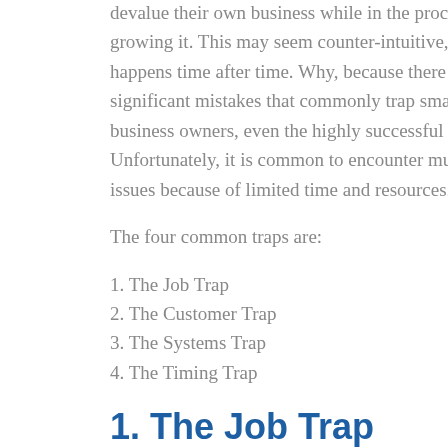devalue their own business while in the process of growing it. This may seem counter-intuitive, but it happens time after time. Why, because there are four significant mistakes that commonly trap small business owners, even the highly successful ones. Unfortunately, it is common to encounter multiple issues because of limited time and resources.
The four common traps are:
1. The Job Trap
2. The Customer Trap
3. The Systems Trap
4. The Timing Trap
1. The Job Trap
Do you own a business or a profitable job? If you are involved in all the major aspects of your business to the extent that nothing can be finished without you, you probably have a job. The obvious challenge with